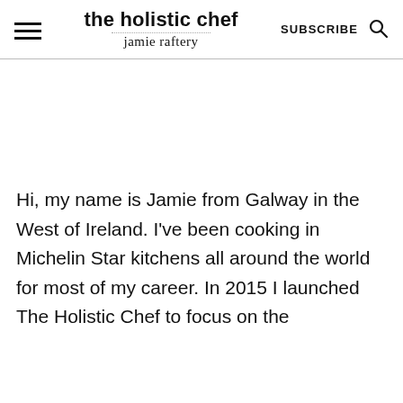the holistic chef | jamie raftery | SUBSCRIBE
Hi, my name is Jamie from Galway in the West of Ireland. I've been cooking in Michelin Star kitchens all around the world for most of my career. In 2015 I launched The Holistic Chef to focus on the